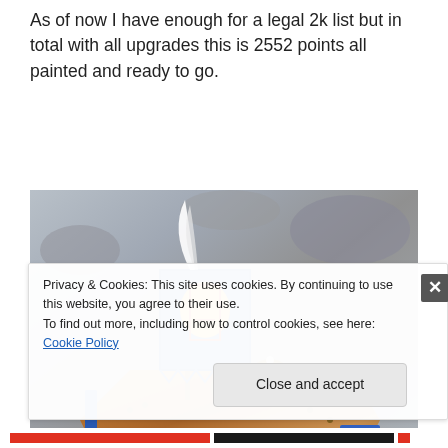As of now I have enough for a legal 2k list but in total with all upgrades this is 2552 points all painted and ready to go.
[Figure (photo): Close-up photo of a painted tabletop wargaming miniature (appears to be an Ork vehicle/tank from Warhammer 40K) with a decorative banner featuring a colorful design, metallic orbs/balls, and bronze/copper colored armor with blue trim. Background is grey/white mottled surface.]
Privacy & Cookies: This site uses cookies. By continuing to use this website, you agree to their use.
To find out more, including how to control cookies, see here: Cookie Policy
Close and accept